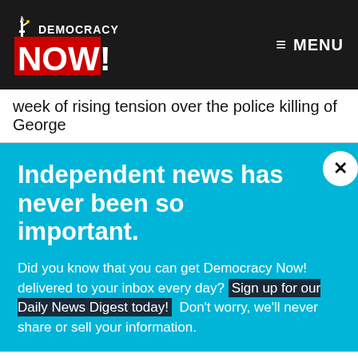Democracy Now! — MENU
week of rising tension over the police killing of George
Independent news has never been so important.
Did you know that you can get Democracy Now! delivered to your inbox every day? Sign up for our Daily News Digest today! Don't worry, we'll never share or sell your information.
EMAIL
SIGN UP!